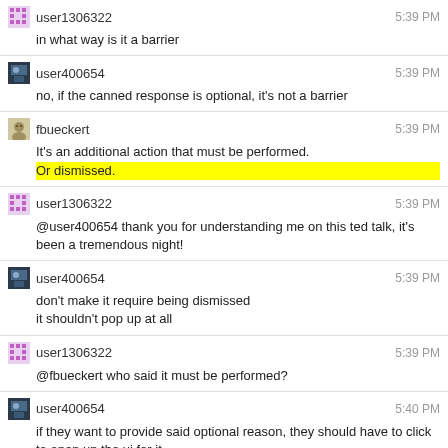user1306322 5:39 PM
in what way is it a barrier
user400654 5:39 PM
no, if the canned response is optional, it's not a barrier
fbueckert 5:39 PM
It's an additional action that must be performed.
Or dismissed.
user1306322 5:39 PM
@user400654 thank you for understanding me on this ted talk, it's been a tremendous night!
user400654 5:39 PM
don't make it require being dismissed
it shouldn't pop up at all
user1306322 5:39 PM
@fbueckert who said it must be performed?
user400654 5:40 PM
if they want to provide said optional reason, they should have to click to open up the ui for it.
fbueckert 5:40 PM